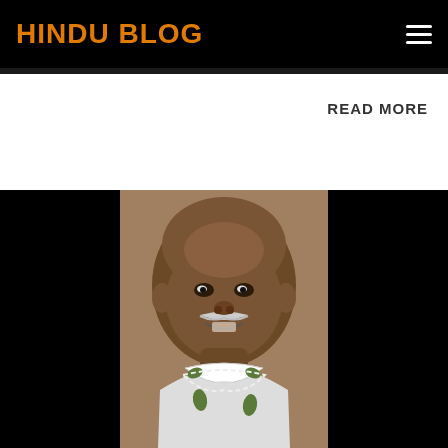HINDU BLOG
READ MORE
[Figure (photo): Portrait painting of an elderly Indian saint/guru, bald-headed with a white mustache, wearing white robes and a floral garland, smiling, set against a dark background]